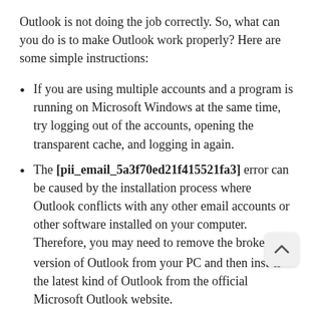Outlook is not doing the job correctly. So, what can you do is to make Outlook work properly? Here are some simple instructions:
If you are using multiple accounts and a program is running on Microsoft Windows at the same time, try logging out of the accounts, opening the transparent cache, and logging in again.
The [pii_email_5a3f70ed21f415521fa3] error can be caused by the installation process where Outlook conflicts with any other email accounts or other software installed on your computer. Therefore, you may need to remove the broken version of Outlook from your PC and then install the latest kind of Outlook from the official Microsoft Outlook website.
Try to use an Internet model of the web version